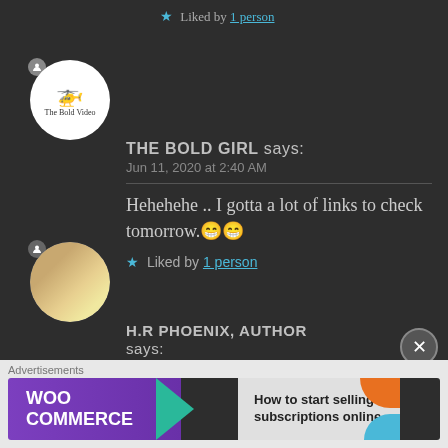★ Liked by 1 person
THE BOLD GIRL says:
Jun 11, 2020 at 2:40 AM
Hehehehe .. I gotta a lot of links to check tomorrow.😁😁
★ Liked by 1 person
H.R PHOENIX, AUTHOR says:
Advertisements
[Figure (screenshot): WooCommerce advertisement banner: 'How to start selling subscriptions online']